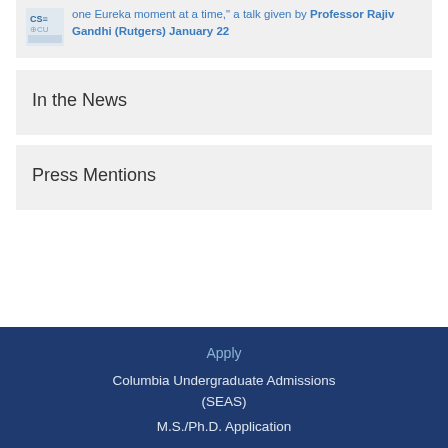one Eureka moment at a time," a talk given by Professor Rajiv Gandhi (Rutgers) January 22
In the News
Press Mentions
Apply
Columbia Undergraduate Admissions (SEAS)
M.S./Ph.D. Application